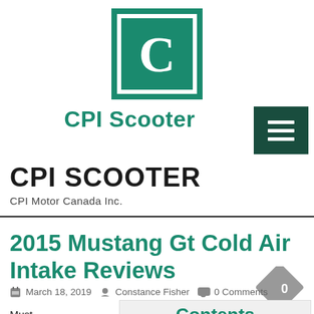[Figure (logo): CPI Scooter logo: teal square with white letter C inside a border]
CPI Scooter
CPI SCOOTER
CPI Motor Canada Inc.
2015 Mustang Gt Cold Air Intake Reviews
March 18, 2019  Constance Fisher  0 Comments